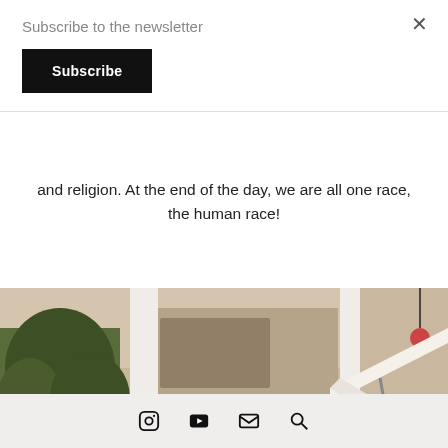Subscribe to the newsletter
Subscribe
and religion. At the end of the day, we are all one race, the human race!
[Figure (photo): Outdoor patio/restaurant scene with tropical plants, white columns, decorative hanging lamp, and a white umbrella]
Instagram, YouTube, Email, Search icons